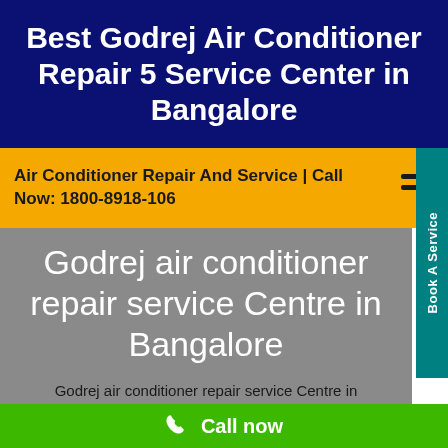Best Godrej Air Conditioner Repair 5 Service Center in Bangalore
Air Conditioner Repair And Service | Call Now: 1800-8918-106
Godrej air conditioner repair service Centre in Bangalore
Godrej air conditioner repair service Centre in
Call now